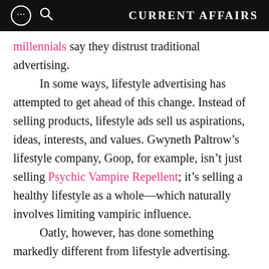CURRENT AFFAIRS
millennials say they distrust traditional advertising.

    In some ways, lifestyle advertising has attempted to get ahead of this change. Instead of selling products, lifestyle ads sell us aspirations, ideas, interests, and values. Gwyneth Paltrow’s lifestyle company, Goop, for example, isn’t just selling Psychic Vampire Repellent; it’s selling a healthy lifestyle as a whole––which naturally involves limiting vampiric influence.

    Oatly, however, has done something markedly different from lifestyle advertising.